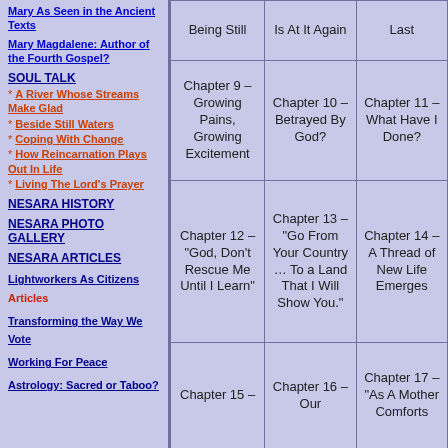Mary As Seen in the Ancient Texts
Mary Magdalene: Author of the Fourth Gospel?
SOUL TALK
* A River Whose Streams Make Glad
* Beside Still Waters
* Coping With Change
* How Reincarnation Plays Out In Life
* Living The Lord's Prayer
NESARA HISTORY
NESARA PHOTO GALLERY
NESARA ARTICLES
Lightworkers As Citizens
Articles
Transforming the Way We Vote
Working For Peace
Astrology: Sacred or Taboo?
| Col1 | Col2 | Col3 |
| --- | --- | --- |
| Being Still | Is At It Again | Last |
| Chapter 9 – Growing Pains, Growing Excitement | Chapter 10 – Betrayed By God? | Chapter 11 – What Have I Done? |
| Chapter 12 – "God, Don't Rescue Me Until I Learn" | Chapter 13 – "Go From Your Country … To a Land That I Will Show You." | Chapter 14 – A Thread of New Life Emerges |
| Chapter 15 – | Chapter 16 – Our | Chapter 17 – "As A Mother Comforts |